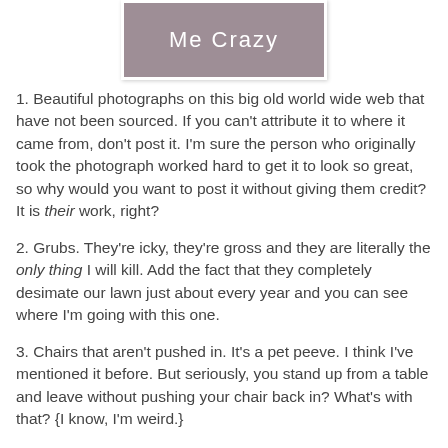[Figure (photo): Book cover with grey textured background and white thin-font text reading 'Me Crazy']
1. Beautiful photographs on this big old world wide web that have not been sourced. If you can't attribute it to where it came from, don't post it. I'm sure the person who originally took the photograph worked hard to get it to look so great, so why would you want to post it without giving them credit? It is their work, right?
2. Grubs. They're icky, they're gross and they are literally the only thing I will kill. Add the fact that they completely desimate our lawn just about every year and you can see where I'm going with this one.
3. Chairs that aren't pushed in. It's a pet peeve. I think I've mentioned it before. But seriously, you stand up from a table and leave without pushing your chair back in? What's with that? {I know, I'm weird.}